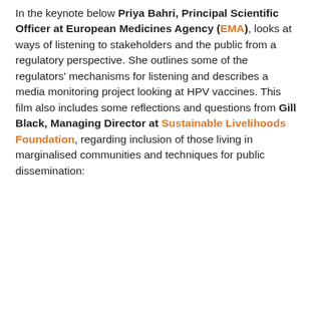In the keynote below Priya Bahri, Principal Scientific Officer at European Medicines Agency (EMA), looks at ways of listening to stakeholders and the public from a regulatory perspective. She outlines some of the regulators' mechanisms for listening and describes a media monitoring project looking at HPV vaccines. This film also includes some reflections and questions from Gill Black, Managing Director at Sustainable Livelihoods Foundation, regarding inclusion of those living in marginalised communities and techniques for public dissemination:
[Figure (screenshot): Video thumbnail for MESH Day 3 Listening: Keynote, showing MESH community engagement network logo, The Global Health Network logo, and Wellcome logo on dark background]
Day 3 Listening: Keynote
Priya Bahri, Principal Scientific Officer at EMA
with reflections from Gill Black, Managing Director at